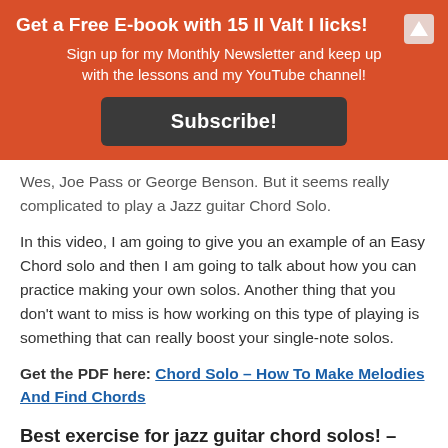Get a Free E-book with 15 II Valt I licks!
Sign up for my Monthly Newsletter and keep up with the lessons and my YouTube channel!
Subscribe!
Wes, Joe Pass or George Benson. But it seems really complicated to play a Jazz guitar Chord Solo.
In this video, I am going to give you an example of an Easy Chord solo and then I am going to talk about how you can practice making your own solos. Another thing that you don't want to miss is how working on this type of playing is something that can really boost your single-note solos.
Get the PDF here: Chord Solo – How To Make Melodies And Find Chords
Best exercise for jazz guitar chord solos! – Brain and fingers!